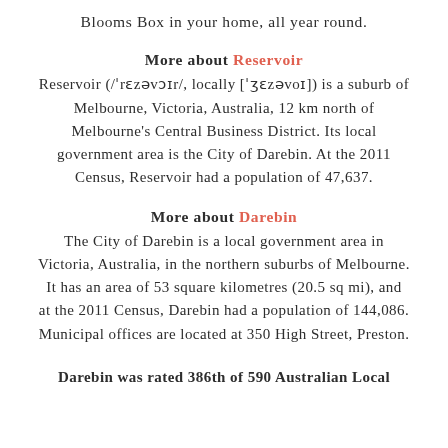Blooms Box in your home, all year round.
More about Reservoir
Reservoir (/ˈrɛzəvɔɪr/, locally [ˈʒɛzəvoɪ]) is a suburb of Melbourne, Victoria, Australia, 12 km north of Melbourne’s Central Business District. Its local government area is the City of Darebin. At the 2011 Census, Reservoir had a population of 47,637.
More about Darebin
The City of Darebin is a local government area in Victoria, Australia, in the northern suburbs of Melbourne. It has an area of 53 square kilometres (20.5 sq mi), and at the 2011 Census, Darebin had a population of 144,086. Municipal offices are located at 350 High Street, Preston.
Darebin was rated 386th of 590 Australian Local